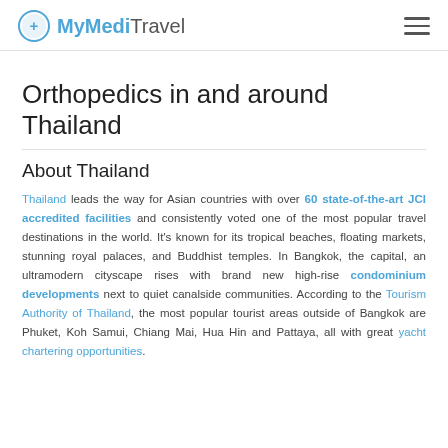MyMediTravel
Orthopedics in and around Thailand
About Thailand
Thailand leads the way for Asian countries with over 60 state-of-the-art JCI accredited facilities and consistently voted one of the most popular travel destinations in the world. It's known for its tropical beaches, floating markets, stunning royal palaces, and Buddhist temples. In Bangkok, the capital, an ultramodern cityscape rises with brand new high-rise condominium developments next to quiet canalside communities. According to the Tourism Authority of Thailand, the most popular tourist areas outside of Bangkok are Phuket, Koh Samui, Chiang Mai, Hua Hin and Pattaya, all with great yacht chartering opportunities.